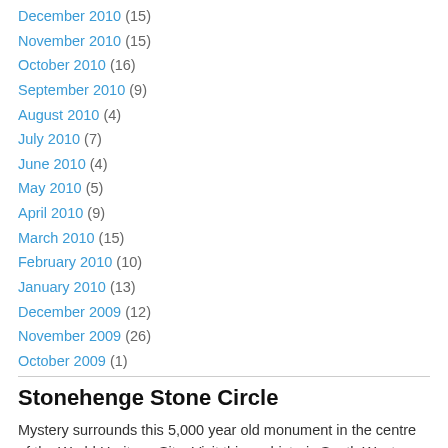December 2010 (15)
November 2010 (15)
October 2010 (16)
September 2010 (9)
August 2010 (4)
July 2010 (7)
June 2010 (4)
May 2010 (5)
April 2010 (9)
March 2010 (15)
February 2010 (10)
January 2010 (13)
December 2009 (12)
November 2009 (26)
October 2009 (1)
Stonehenge Stone Circle
Mystery surrounds this 5,000 year old monument in the centre of the World Heritage Site. Visit this prehistoric South West site…